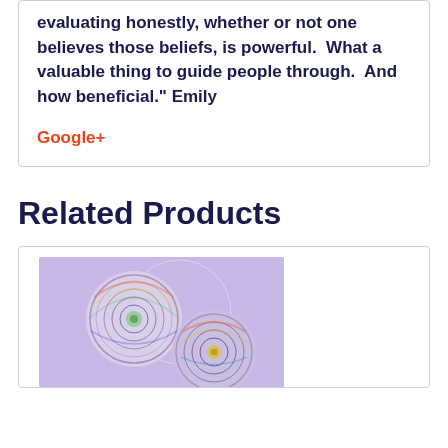evaluating honestly, whether or not one believes those beliefs, is powerful.  What a valuable thing to guide people through.  And how beneficial." Emily
Google+
Related Products
[Figure (photo): Two colorful CD/DVD discs on a light purple background]